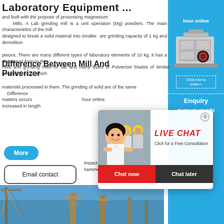Laboratory Equipment ...
and built with the purpose of processing magnesium
    Mills. A Lab grinding mill is a unit operation (Mg) powders. The main characteristics of the mill
designed to break a solid material into smaller are grinding capacity of 1 kg and demolition
pieces. There are many different types of laboratory elements of 10 kg; it has a distributed form to the
mills and grinding mills for lab and many types of Pulverizer blades of similar geometry, six of which
Difference Between Mill And Pulverizer
materials processed in them. The grinding of solid are of the same
Difference
matters occurs increased in length
[Figure (photo): Live chat popup overlay with a woman and workers in yellow hard hats, red LIVE CHAT heading, 'Click for a Free Consultation', Chat now and Chat later buttons]
impact pulverizer and overcoming of ...
hammer mill. 1 Hammer
[Figure (photo): Construction site with cranes and industrial towers against a blue sky]
[Figure (photo): Right sidebar with blue background showing industrial crushing machine, 'hour online', 'Click me to chat>>', 'Enquiry', 'mumumugoods' text]